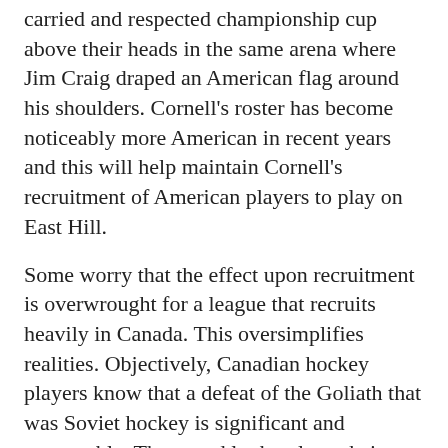carried and respected championship cup above their heads in the same arena where Jim Craig draped an American flag around his shoulders. Cornell's roster has become noticeably more American in recent years and this will help maintain Cornell's recruitment of American players to play on East Hill.
Some worry that the effect upon recruitment is overwrought for a league that recruits heavily in Canada. This oversimplifies realities. Objectively, Canadian hockey players know that a defeat of the Goliath that was Soviet hockey is significant and respectable. They need look only to their own defeat of the Soviet Union in the Summit Series to realize the importance for Canadian hockey culture. This misses noticeably the personal connection that many American players feel with the history at Herb Brooks Arena. Cornell stands advantaged in this respect.
Lake Placid hosted the ECAC Championships nine times. Cornell was 6-4-0 at Lake Placid over that span including winning the ECAC Championship twice under Schafer. However, those statistics are not the most salient point for a program that values its history so highly. It was in Lake Placid that John Hughes, Brian Cropper, and Ned Harkness